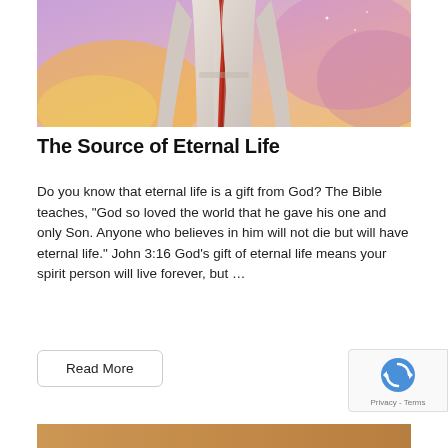[Figure (illustration): Colorful fantasy-style illustration of a robed figure (Jesus) in flowing white and grey robes with a red sash, surrounded by vibrant orange, purple, pink and blue cosmic/ethereal colors. Only the lower body and torso are visible at the top of the crop.]
The Source of Eternal Life
Do you know that eternal life is a gift from God? The Bible teaches, “God so loved the world that he gave his one and only Son. Anyone who believes in him will not die but will have eternal life.” John 3:16 God’s gift of eternal life means your spirit person will live forever, but …
[Figure (other): Read More button with rounded border]
[Figure (other): reCAPTCHA badge with circular arrow logo and Privacy - Terms text]
[Figure (illustration): Bottom partial image, appears to be another religious illustration partially visible at the bottom of the page.]